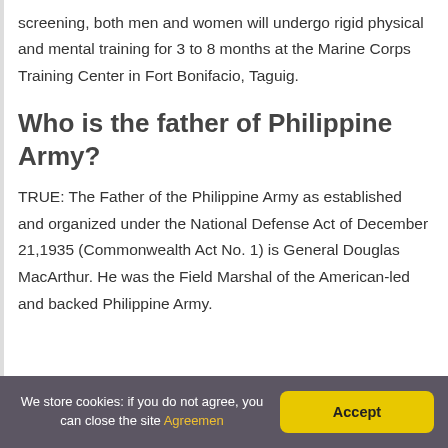screening, both men and women will undergo rigid physical and mental training for 3 to 8 months at the Marine Corps Training Center in Fort Bonifacio, Taguig.
Who is the father of Philippine Army?
TRUE: The Father of the Philippine Army as established and organized under the National Defense Act of December 21,1935 (Commonwealth Act No. 1) is General Douglas MacArthur. He was the Field Marshal of the American-led and backed Philippine Army.
We store cookies: if you do not agree, you can close the site Agreemen